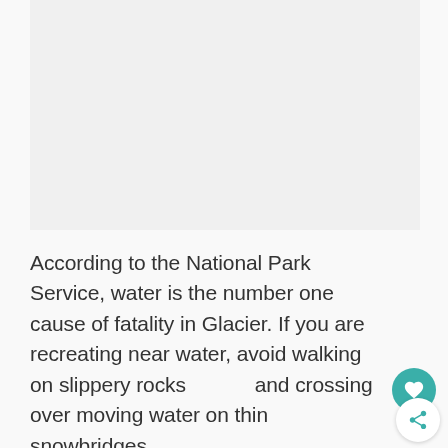[Figure (photo): Faint/faded image area at top of page, appears to be a nature/park scene (barely visible)]
According to the National Park Service, water is the number one cause of fatality in Glacier. If you are recreating near water, avoid walking on slippery rocks and crossing over moving water on thin snowbridges.